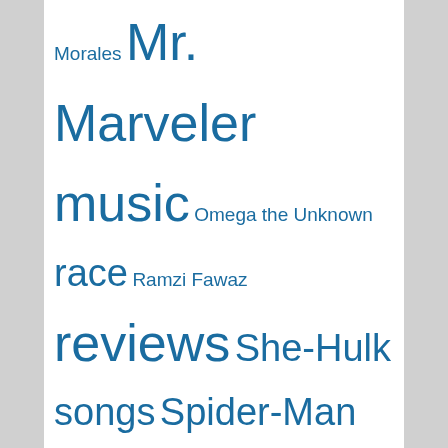Morales Mr. Marveler music Omega the Unknown race Ramzi Fawaz reviews She-Hulk songs Spider-Man Steve Gerber Storm superheroes The (re)Collection Agency Thor Wolverine Wonder Woman X-Men
My Tweets
Goodreads
All of the Marvels: A Journey to the Ends of the Biggest Story Ever Told by Douglas Wolk
The Fantastic Four Omnibus, Vol. 2 by Stan Lee